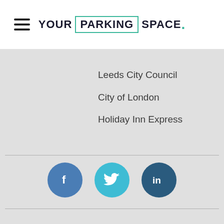[Figure (logo): YourParkingSpace logo with hamburger menu icon on the left. Logo reads YOUR PARKING SPACE. with PARKING in a teal-bordered box.]
Leeds City Council
City of London
Holiday Inn Express
[Figure (infographic): Three social media icons in circles: Facebook (blue-grey), Twitter (teal), LinkedIn (dark blue).]
Copyright © 2022 YourParkingSpace Ltd